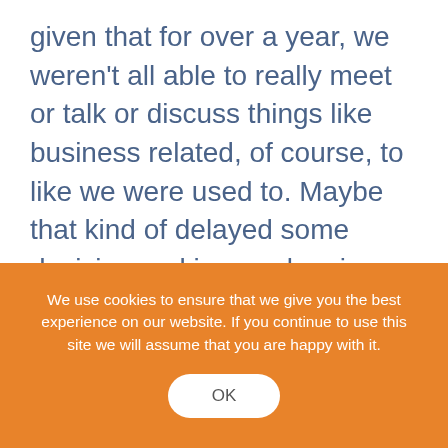given that for over a year, we weren't all able to really meet or talk or discuss things like business related, of course, to like we were used to. Maybe that kind of delayed some decision making or planning, but nothing that nothing that I've noticed or that I can think of right now.
ST: All right, Maria, are you seeing impacts to the EV coverage as a result of the pandemic?
We use cookies to ensure that we give you the best experience on our website. If you continue to use this site we will assume that you are happy with it.